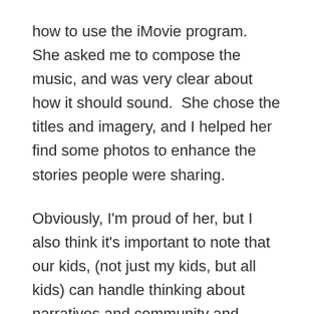how to use the iMovie program.  She asked me to compose the music, and was very clear about how it should sound.  She chose the titles and imagery, and I helped her find some photos to enhance the stories people were sharing.
Obviously, I'm proud of her, but I also think it's important to note that our kids, (not just my kids, but all kids) can handle thinking about narratives and community and diversity even in grade school.  In fact, most of the divisive mindsets people carry around with them originate at early ages.